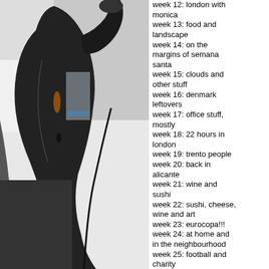[Figure (photo): Close-up photo of a dark cello or similar string instrument, showing the body, neck, and scroll against a light background]
week 12: london with monica
week 13: food and landscape
week 14: on the margins of semana santa
week 15: clouds and other stuff
week 16: denmark leftovers
week 17: office stuff, mostly
week 18: 22 hours in london
week 19: trento people
week 20: back in alicante
week 21: wine and sushi
week 22: sushi, cheese, wine and art
week 23: eurocopa!!!
week 24: at home and in the neighbourhood
week 25: football and charity
week 26: valencia
week 27: lug meeting in barcelona
week 28: newport, cardiff, bath
week 29: back home